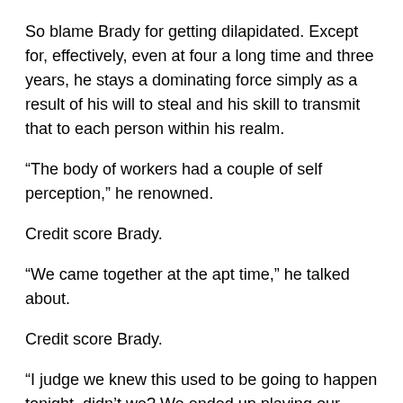So blame Brady for getting dilapidated. Except for, effectively, even at four a long time and three years, he stays a dominating force simply as a result of his will to steal and his skill to transmit that to each person within his realm.
“The body of workers had a couple of self perception,” he renowned.
Credit score Brady.
“We came together at the apt time,” he talked about.
Credit score Brady.
“I judge we knew this used to be going to happen tonight, didn’t we? We ended up playing our supreme game of the year,” he talked about.
In doing so, particularly with a protection that bewildered Patrick